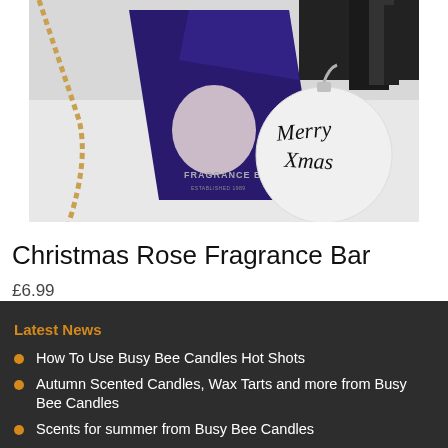[Figure (photo): Product photo: Christmas Rose Fragrance Bar packaging (dark blue/purple box with circular pale rose graphic and 'FRAGRANCE BAR' text) next to a white Christmas ornament ball with 'Merry Xmas' written on it, on snowy/white surface. Gold chain visible on left.]
Christmas Rose Fragrance Bar
£6.99
Latest News
How To Use Busy Bee Candles Hot Shots
Autumn Scented Candles, Wax Tarts and more from Busy Bee Candles
Scents for summer from Busy Bee Candles
How to use new Busy Bee Candles Magik